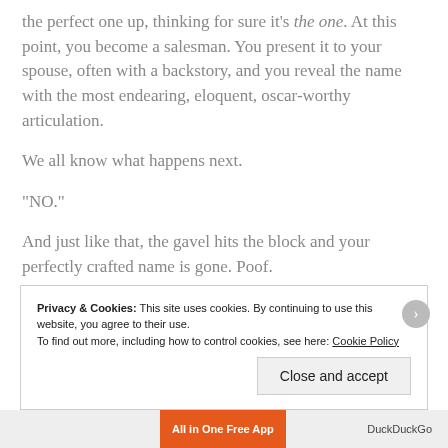the perfect one up, thinking for sure it's the one. At this point, you become a salesman. You present it to your spouse, often with a backstory, and you reveal the name with the most endearing, eloquent, oscar-worthy articulation.
We all know what happens next.
“NO.”
And just like that, the gavel hits the block and your perfectly crafted name is gone. Poof.
Privacy & Cookies: This site uses cookies. By continuing to use this website, you agree to their use. To find out more, including how to control cookies, see here: Cookie Policy
Close and accept
All in One Free App   DuckDuckGo